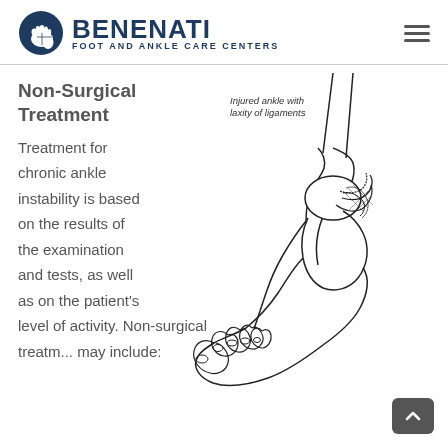[Figure (logo): Benenati Foot and Ankle Care Centers logo with circular foot icon and bold text]
Non-Surgical Treatment
[Figure (illustration): Medical illustration of an injured ankle with laxity of ligaments, showing foot and ankle bones from the side]
Injured ankle with laxity of ligaments
Treatment for chronic ankle instability is based on the results of the examination and tests, as well as on the patient's level of activity. Non-surgical treatment may include: